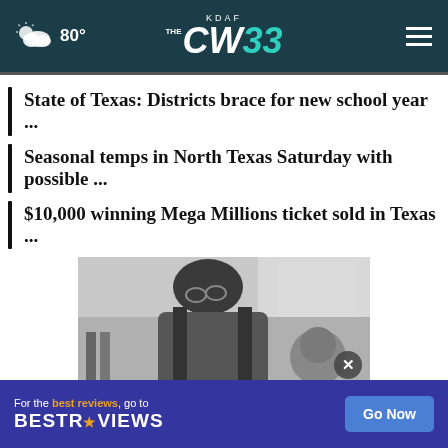KDAF CW33 — 80° weather, hamburger menu
State of Texas: Districts brace for new school year ...
Seasonal temps in North Texas Saturday with possible ...
$10,000 winning Mega Millions ticket sold in Texas ...
[Figure (photo): Black and white photo of a person wearing glasses leaning over, with another person partially visible, indoors]
[Figure (advertisement): BestReviews ad banner: 'For the best reviews, go to BESTREVIEWS' with a 'Go Now' button on dark blue background]